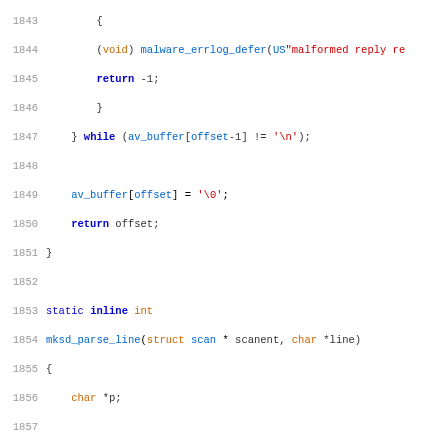[Figure (screenshot): Source code listing in C, lines 1843-1875, showing malware scanner parsing functions mksd_parse_line with syntax highlighting: keywords in blue bold, string literals in red, comments in gray italic, function/type names in orange or blue.]